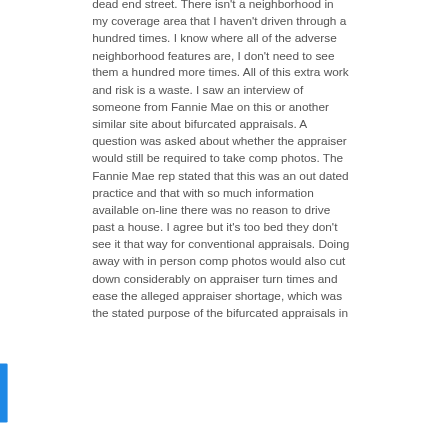dead end street. There isn't a neighborhood in my coverage area that I haven't driven through a hundred times. I know where all of the adverse neighborhood features are, I don't need to see them a hundred more times. All of this extra work and risk is a waste. I saw an interview of someone from Fannie Mae on this or another similar site about bifurcated appraisals. A question was asked about whether the appraiser would still be required to take comp photos. The Fannie Mae rep stated that this was an out dated practice and that with so much information available on-line there was no reason to drive past a house. I agree but it's too bed they don't see it that way for conventional appraisals. Doing away with in person comp photos would also cut down considerably on appraiser turn times and ease the alleged appraiser shortage, which was the stated purpose of the bifurcated appraisals in